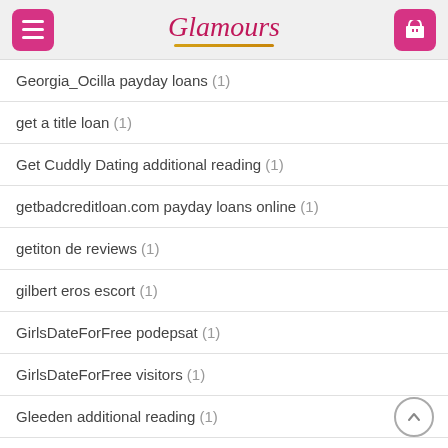Glamours
Georgia_Ocilla payday loans (1)
get a title loan (1)
Get Cuddly Dating additional reading (1)
getbadcreditloan.com payday loans online (1)
getiton de reviews (1)
gilbert eros escort (1)
GirlsDateForFree podepsat (1)
GirlsDateForFree visitors (1)
Gleeden additional reading (1)
glendale sign in (1)